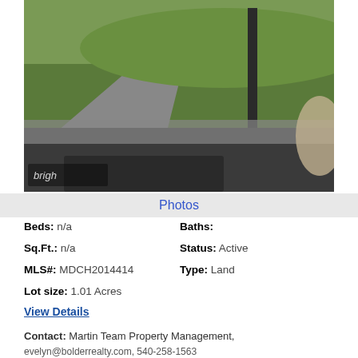[Figure (photo): Photo taken from inside a car showing a rural road with green grass, fence posts, and hills in background. Car dashboard visible in lower portion.]
Photos
Beds: n/a | Baths:
Sq.Ft.: n/a | Status: Active
MLS#: MDCH2014414 | Type: Land
Lot size: 1.01 Acres
View Details
Contact: Martin Team Property Management, evelyn@bolderrealty.com, 540-258-1563